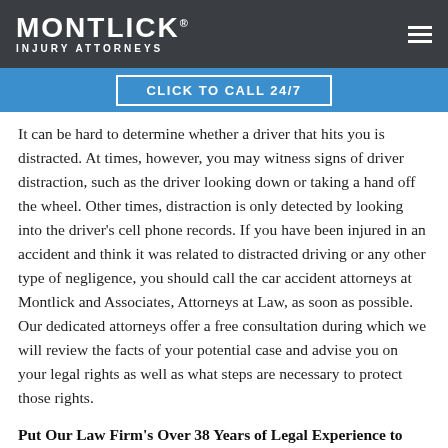MONTLICK INJURY ATTORNEYS
CLICK TO CALL 24/7
It can be hard to determine whether a driver that hits you is distracted. At times, however, you may witness signs of driver distraction, such as the driver looking down or taking a hand off the wheel. Other times, distraction is only detected by looking into the driver's cell phone records. If you have been injured in an accident and think it was related to distracted driving or any other type of negligence, you should call the car accident attorneys at Montlick and Associates, Attorneys at Law, as soon as possible. Our dedicated attorneys offer a free consultation during which we will review the facts of your potential case and advise you on your legal rights as well as what steps are necessary to protect those rights.
Put Our Law Firm's Over 38 Years of Legal Experience to